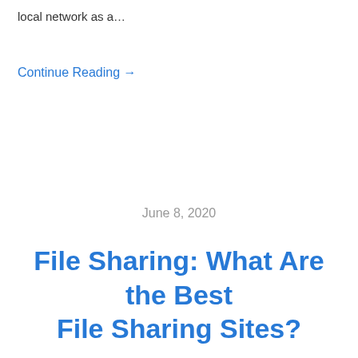local network as a…
Continue Reading →
June 8, 2020
File Sharing: What Are the Best File Sharing Sites?